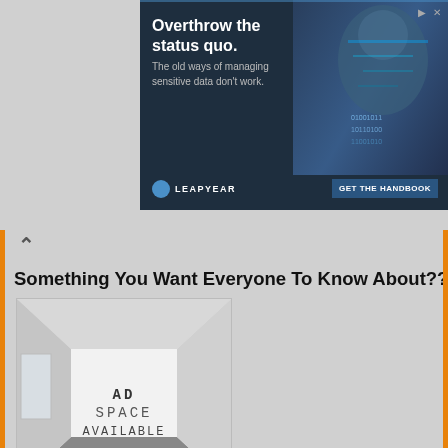[Figure (screenshot): Advertisement banner for Leapyear: 'Overthrow the status quo. The old ways of managing sensitive data don't work.' with a GET THE HANDBOOK button and an image of a person's face overlaid with data graphics.]
Something You Want Everyone To Know About??
[Figure (photo): An empty white room with text 'AD SPACE AVAILABLE' in the center]
My Mantra
[Figure (photo): Stage lights photo with text overlay: 'Let your light so shine before men, that they']